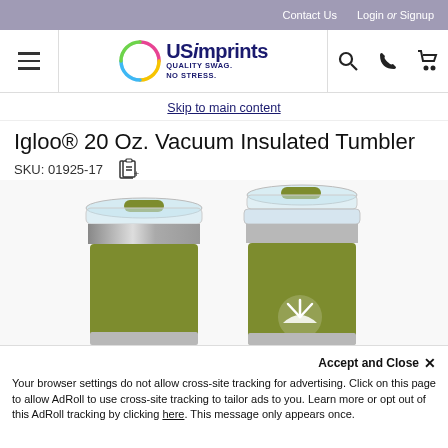Contact Us   Login or Signup
[Figure (logo): USImprints logo with circular multicolor ring and tagline QUALITY SWAG. NO STRESS.]
Igloo® 20 Oz. Vacuum Insulated Tumbler
SKU: 01925-17
[Figure (photo): Two olive/yellow-green Igloo 20 oz vacuum insulated tumblers with clear lids, one showing front and one showing back with a logo]
Accept and Close ✕
Your browser settings do not allow cross-site tracking for advertising. Click on this page to allow AdRoll to use cross-site tracking to tailor ads to you. Learn more or opt out of this AdRoll tracking by clicking here. This message only appears once.